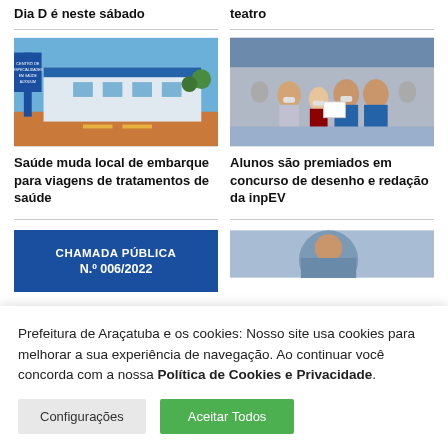Dia D é neste sábado
teatro
[Figure (photo): Exterior of Centro de Especialidades em Saúde - Auxilium building with blue signage and clear sky]
Saúde muda local de embarque para viagens de tratamentos de saúde
[Figure (photo): Students and adults posing together at what appears to be a prize ceremony for drawing and essay contest]
Alunos são premiados em concurso de desenho e redação da inpEV
[Figure (screenshot): Chamada Pública N.º 006/2022 banner in blue]
[Figure (photo): Partial photo visible at bottom right]
Prefeitura de Araçatuba e os cookies: Nosso site usa cookies para melhorar a sua experiência de navegação. Ao continuar você concorda com a nossa Política de Cookies e Privacidade.
Configurações
Aceitar Todos